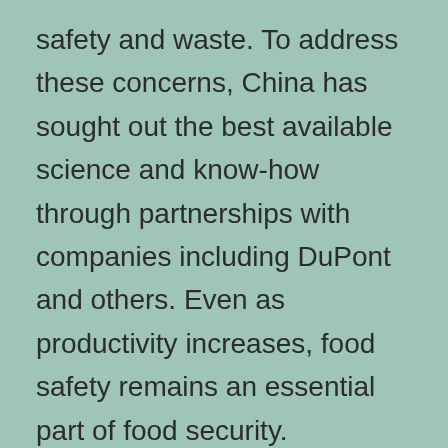safety and waste. To address these concerns, China has sought out the best available science and know-how through partnerships with companies including DuPont and others. Even as productivity increases, food safety remains an essential part of food security.
“With the UN estimating recently that 870 million people around the world go hungry, success in China can serve as a model for many other countries. One single example of a scientific innovation with a broader payoff emerged when DuPont Nutrition and Health tackled the problem of popular yogurt drinks